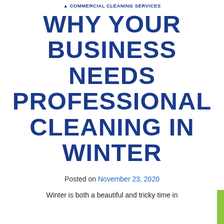COMMERCIAL CLEANING SERVICES
WHY YOUR BUSINESS NEEDS PROFESSIONAL CLEANING IN WINTER
Posted on November 23, 2020
Winter is both a beautiful and tricky time in